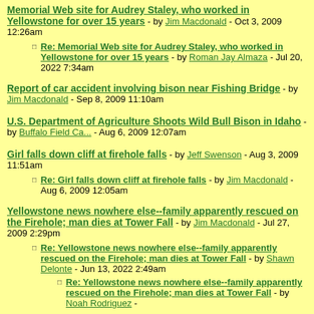Memorial Web site for Audrey Staley, who worked in Yellowstone for over 15 years - by Jim Macdonald - Oct 3, 2009 12:26am
Re: Memorial Web site for Audrey Staley, who worked in Yellowstone for over 15 years - by Roman Jay Almaza - Jul 20, 2022 7:34am
Report of car accident involving bison near Fishing Bridge - by Jim Macdonald - Sep 8, 2009 11:10am
U.S. Department of Agriculture Shoots Wild Bull Bison in Idaho - by Buffalo Field Ca... - Aug 6, 2009 12:07am
Girl falls down cliff at firehole falls - by Jeff Swenson - Aug 3, 2009 11:51am
Re: Girl falls down cliff at firehole falls - by Jim Macdonald - Aug 6, 2009 12:05am
Yellowstone news nowhere else--family apparently rescued on the Firehole; man dies at Tower Fall - by Jim Macdonald - Jul 27, 2009 2:29pm
Re: Yellowstone news nowhere else--family apparently rescued on the Firehole; man dies at Tower Fall - by Shawn Delonte - Jun 13, 2022 2:49am
Re: Yellowstone news nowhere else--family apparently rescued on the Firehole; man dies at Tower Fall - by Noah Rodriguez -